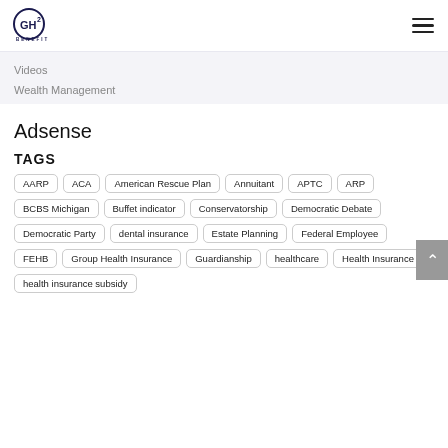GH² BENEFITS
Videos
Wealth Management
Adsense
TAGS
AARP
ACA
American Rescue Plan
Annuitant
APTC
ARP
BCBS Michigan
Buffet indicator
Conservatorship
Democratic Debate
Democratic Party
dental insurance
Estate Planning
Federal Employee
FEHB
Group Health Insurance
Guardianship
healthcare
Health Insurance
health insurance subsidy